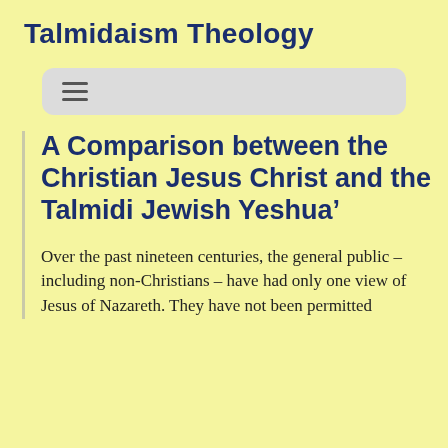Talmidaism Theology
[Figure (other): Navigation bar with hamburger menu icon (three horizontal lines) on a light gray rounded rectangle background]
A Comparison between the Christian Jesus Christ and the Talmidi Jewish Yeshua’
Over the past nineteen centuries, the general public – including non-Christians – have had only one view of Jesus of Nazareth. They have not been permitted